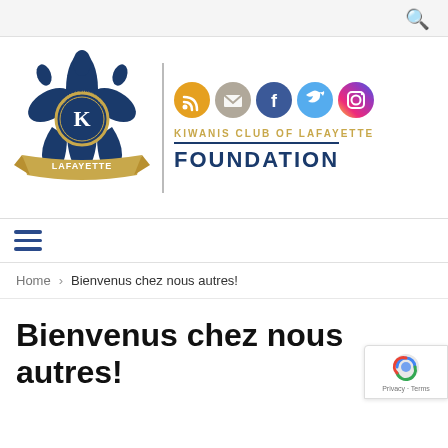[Figure (logo): Kiwanis Club of Lafayette Foundation logo with fleur-de-lis and Kiwanis International emblem, plus social media icons (RSS, email, Facebook, Twitter, Instagram) and text 'KIWANIS CLUB OF LAFAYETTE FOUNDATION']
Navigation menu (hamburger icon)
Home > Bienvenus chez nous autres!
Bienvenus chez nous autres!